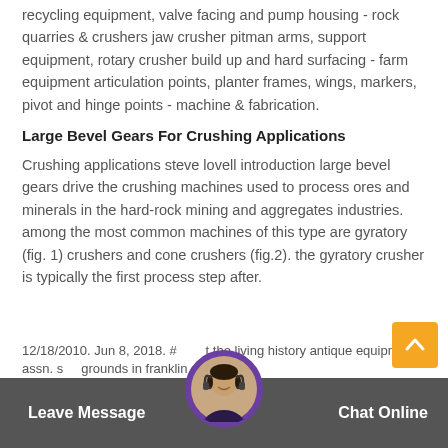recycling equipment, valve facing and pump housing - rock quarries & crushers jaw crusher pitman arms, support equipment, rotary crusher build up and hard surfacing - farm equipment articulation points, planter frames, wings, markers, pivot and hinge points - machine & fabrication.
Large Bevel Gears For Crushing Applications
Crushing applications steve lovell introduction large bevel gears drive the crushing machines used to process ores and minerals in the hard-rock mining and aggregates industries. among the most common machines of this type are gyratory (fig. 1) crushers and cone crushers (fig.2). the gyratory crusher is typically the first process step after.
12/18/2010. Jun 8, 2018. #... t the living history antique equipment assn. s... grounds in franklin grove,
Leave Message
Chat Online